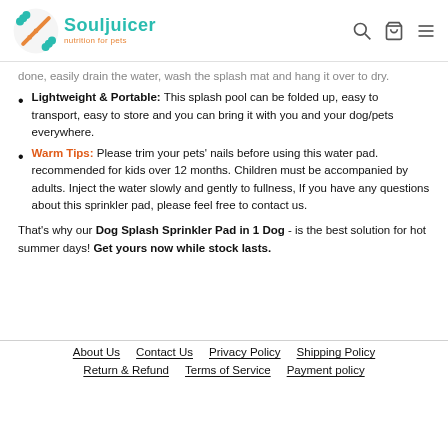Souljuicer — nutrition for pets
done, easily drain the water, wash the splash mat and hang it over to dry.
Lightweight & Portable: This splash pool can be folded up, easy to transport, easy to store and you can bring it with you and your dog/pets everywhere.
Warm Tips: Please trim your pets' nails before using this water pad. recommended for kids over 12 months. Children must be accompanied by adults. Inject the water slowly and gently to fullness, If you have any questions about this sprinkler pad, please feel free to contact us.
That's why our Dog Splash Sprinkler Pad in 1 Dog - is the best solution for hot summer days! Get yours now while stock lasts.
About Us   Contact Us   Privacy Policy   Shipping Policy   Return & Refund   Terms of Service   Payment policy